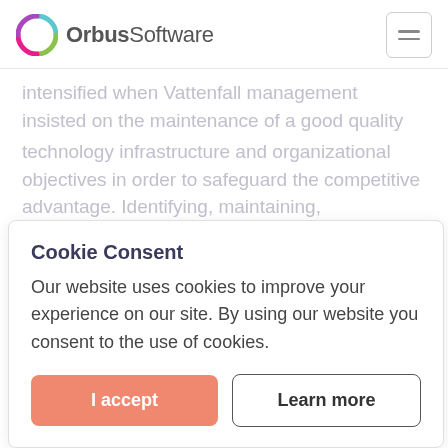OrbusSoftware
intensified when Vattenfall management insisted on the maintenance of a good quality technology infrastructure and organizational objectives in order to safeguard the competitive advantage. Identifying, maintaining, implementing and developing this environment was valuable for expediting alignment, working for employee privacy.
Cookie Consent
Our website uses cookies to improve your experience on our site. By using our website you consent to the use of cookies.
I accept
Learn more